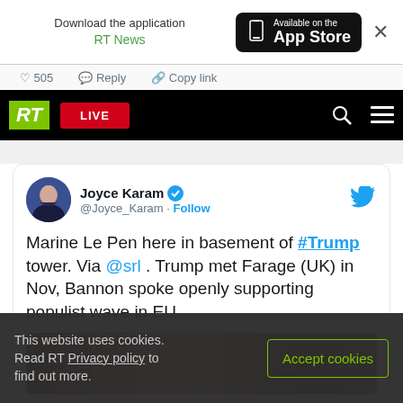[Figure (screenshot): App download banner showing 'Download the application RT News' and 'Available on the App Store' button with phone icon, and X close button]
505  Reply  Copy link
[Figure (screenshot): RT network navigation bar with green RT logo, red LIVE button, search icon, and hamburger menu on black background]
[Figure (screenshot): Tweet card from Joyce Karam (@Joyce_Karam) with verified badge and Follow link. Tweet text: 'Marine Le Pen here in basement of #Trump tower. Via @srl . Trump met Farage (UK) in Nov, Bannon spoke openly supporting populist wave in EU'. Followed by a partial image of Trump tower interior.]
Marine Le Pen here in basement of #Trump tower. Via @srl . Trump met Farage (UK) in Nov, Bannon spoke openly supporting populist wave in EU
This website uses cookies. Read RT Privacy policy to find out more.
Accept cookies